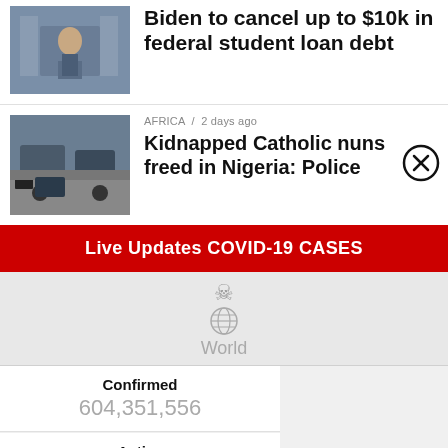Biden to cancel up to $10k in federal student loan debt
[Figure (photo): Photo of a speaker at a podium with US flags in background]
AFRICA / 2 days ago
Kidnapped Catholic nuns freed in Nigeria: Police
[Figure (photo): Photo of police vehicles and people on a street]
Live Updates COVID-19 CASES
World
| Category | Count |
| --- | --- |
| Confirmed | 604,351,556 |
| Active | 18,659,109 |
| Recovered | 579,209,299 |
| Death | 6,483,148 |